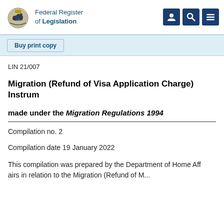Federal Register of Legislation
Buy print copy
LIN 21/007
Migration (Refund of Visa Application Charge) Instrument
made under the Migration Regulations 1994
Compilation no. 2
Compilation date 19 January 2022
This compilation was prepared by the Department of Home Affairs in relation to the Migration (Refund of Visa Application Charge)...